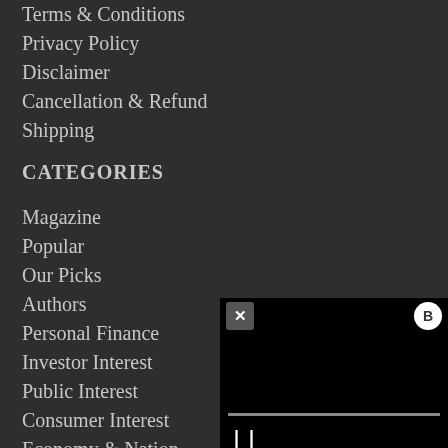Terms & Conditions
Privacy Policy
Disclaimer
Cancellation & Refund
Shipping
CATEGORIES
Magazine
Popular
Our Picks
Authors
Personal Finance
Investor Interest
Public Interest
Consumer Interest
Economy & Nation
Life
[Figure (screenshot): Video player overlay with close (X) button, settings (B) button, black content area, progress bar, and pause button]